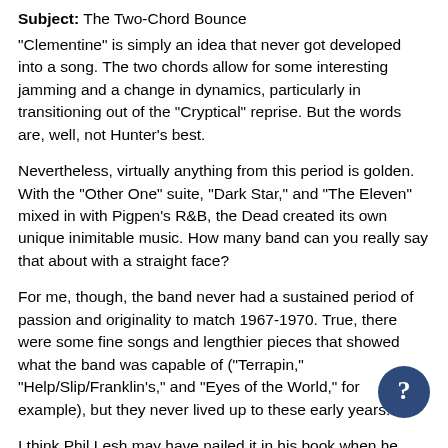Subject: The Two-Chord Bounce
"Clementine" is simply an idea that never got developed into a song. The two chords allow for some interesting jamming and a change in dynamics, particularly in transitioning out of the "Cryptical" reprise. But the words are, well, not Hunter's best.
Nevertheless, virtually anything from this period is golden. With the "Other One" suite, "Dark Star," and "The Eleven" mixed in with Pigpen's R&B, the Dead created its own unique inimitable music. How many band can you really say that about with a straight face?
For me, though, the band never had a sustained period of passion and originality to match 1967-1970. True, there were some fine songs and lengthier pieces that showed what the band was capable of ("Terrapin," "Help/Slip/Franklin's," and "Eyes of the World," for example), but they never lived up to these early years.
I think Phil Lesh may have nailed it in his book when he talked about how the drugs the once helped glue their experiences together ultimately alienated the band members from one other. No matter how much Phil tries to spin things positively,